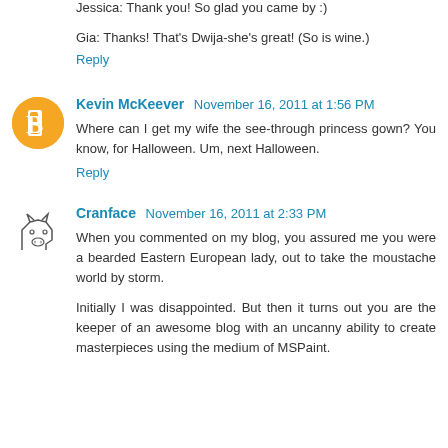Jessica: Thank you! So glad you came by :)
Gia: Thanks! That's Dwija-she's great! (So is wine.)
Reply
Kevin McKeever  November 16, 2011 at 1:56 PM
Where can I get my wife the see-through princess gown? You know, for Halloween. Um, next Halloween.
Reply
Cranface  November 16, 2011 at 2:33 PM
When you commented on my blog, you assured me you were a bearded Eastern European lady, out to take the moustache world by storm.
Initially I was disappointed. But then it turns out you are the keeper of an awesome blog with an uncanny ability to create masterpieces using the medium of MSPaint.